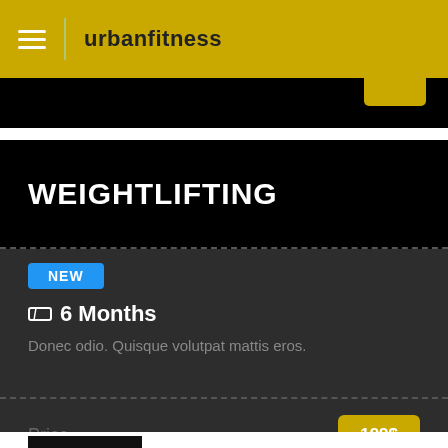urbanfitness
WEIGHTLIFTING
NEW
6 Months
Donec odio. Quisque volutpat mattis eros.
Price  199$
ZUMBA